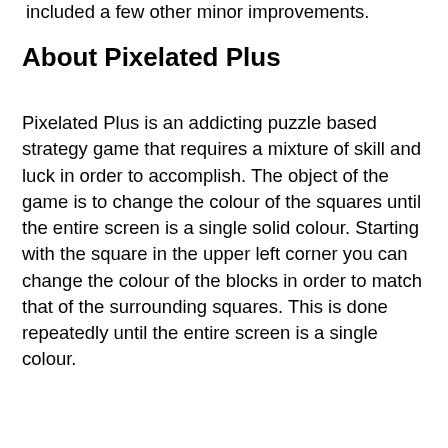included a few other minor improvements.
About Pixelated Plus
Pixelated Plus is an addicting puzzle based strategy game that requires a mixture of skill and luck in order to accomplish. The object of the game is to change the colour of the squares until the entire screen is a single solid colour. Starting with the square in the upper left corner you can change the colour of the blocks in order to match that of the surrounding squares. This is done repeatedly until the entire screen is a single colour.